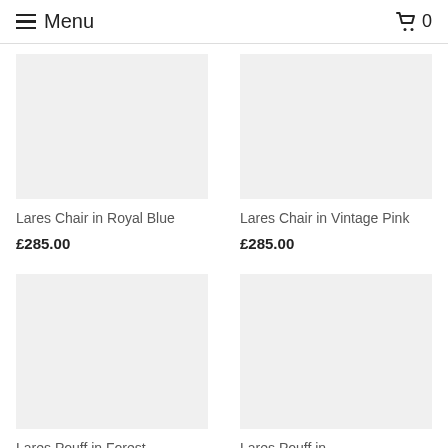Menu | Cart 0
Lares Chair in Royal Blue
£285.00
Lares Chair in Vintage Pink
£285.00
Lares Pouff in Forest
Lares Pouff in